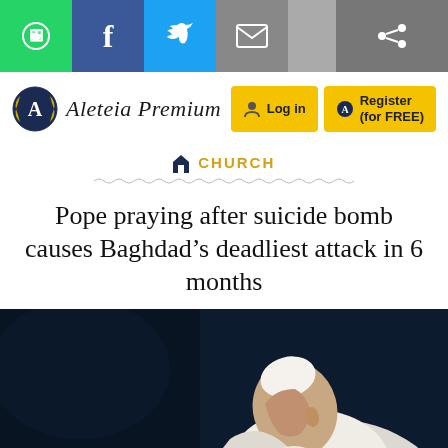Social share toolbar: WhatsApp, Facebook, Twitter, Email, Share
[Figure (logo): Aleteia Premium logo with laurel wreath icon and italic text, Log in and Register (for FREE) buttons]
CHURCH
Pope praying after suicide bomb causes Baghdad's deadliest attack in 6 months
[Figure (photo): Pope Francis bowing his head in prayer, wearing white vestments, dark background]